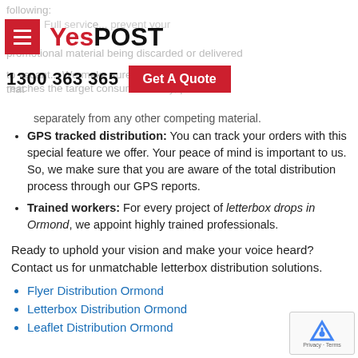YesPOST | 1300 363 365 | Get A Quote
following:
Full service... prevent your promotional material being discarded or delivered to vacant... We make sure that... reaches the target consumer safely, placed separately from any other competing material.
GPS tracked distribution: You can track your orders with this special feature we offer. Your peace of mind is important to us. So, we make sure that you are aware of the total distribution process through our GPS reports.
Trained workers: For every project of letterbox drops in Ormond, we appoint highly trained professionals.
Ready to uphold your vision and make your voice heard? Contact us for unmatchable letterbox distribution solutions.
Flyer Distribution Ormond
Letterbox Distribution Ormond
Leaflet Distribution Ormond